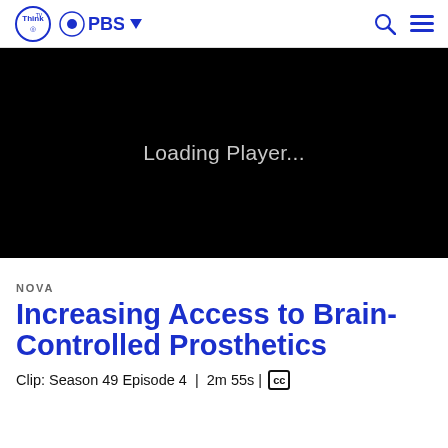ThinkTV PBS
[Figure (screenshot): Black video player area showing 'Loading Player...' text in light gray]
NOVA
Increasing Access to Brain-Controlled Prosthetics
Clip: Season 49 Episode 4 | 2m 55s | CC